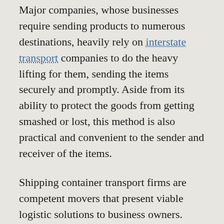Major companies, whose businesses require sending products to numerous destinations, heavily rely on interstate transport companies to do the heavy lifting for them, sending the items securely and promptly. Aside from its ability to protect the goods from getting smashed or lost, this method is also practical and convenient to the sender and receiver of the items.
Shipping container transport firms are competent movers that present viable logistic solutions to business owners. Hence, shipping container transport services continue to remain the go-to method of moving goods in multiple business sectors. Some of its advantages are as follows:
| Table of Contents |
| 1. Practical |